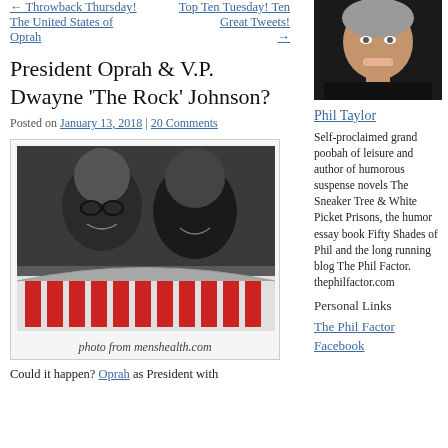← Throwback Thursday! The United States of Oprah
Top Ten Tuesday! Ten Great Tweets! →
President Oprah & V.P. Dwayne 'The Rock' Johnson?
Posted on January 13, 2018 | 20 Comments
[Figure (photo): Black and white photo of Oprah and Dwayne 'The Rock' Johnson with red and white striped podium decoration, captioned 'photo from menshealth.com']
photo from menshealth.com
Could it happen? Oprah as President with
[Figure (photo): Portrait photo of Phil Taylor, a middle-aged smiling man in dark clothing]
Phil Taylor
Self-proclaimed grand poobah of leisure and author of humorous suspense novels The Sneaker Tree & White Picket Prisons, the humor essay book Fifty Shades of Phil and the long running blog The Phil Factor. thephilfactor.com
Personal Links
The Phil Factor
Facebook